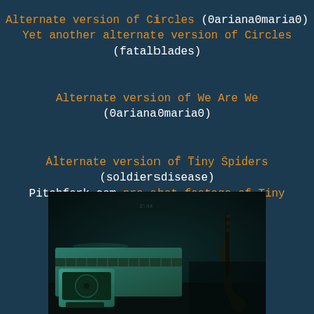Alternate version of Circles (0ariana0maria0) Yet another alternate version of Circles (fatalblades)
Alternate version of We Are We (0ariana0maria0)
Alternate version of Tiny Spiders (soldiersdisease) Pitchfork.com pro-shot footage of Tiny Spiders, in black and white
[Figure (photo): Black and white photo of concert stage equipment including keyboards/synthesizers and a guitar in the background, dark and moody lighting]